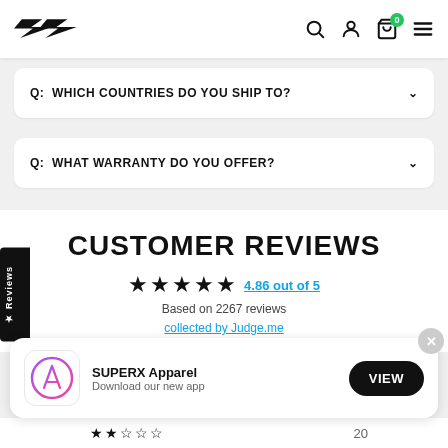SUPERX Apparel — navigation bar with logo, search, account, cart (0), menu
Q: WHICH COUNTRIES DO YOU SHIP TO?
Q: WHAT WARRANTY DO YOU OFFER?
CUSTOMER REVIEWS
4.86 out of 5 — Based on 2267 reviews — collected by Judge.me
[Figure (screenshot): App install banner: SUPERX Apparel — Download our new app — VIEW button, with app icon and close button]
★★★★★  20